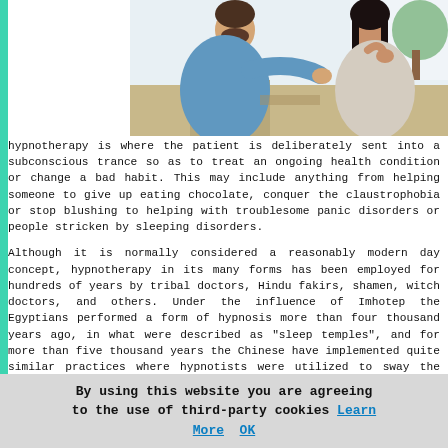[Figure (photo): A therapist and patient sitting facing each other. The therapist (man with beard, blue shirt) reaches toward the patient (woman with dark hair, light turtleneck). Background shows a light interior with a plant.]
hypnotherapy is where the patient is deliberately sent into a subconscious trance so as to treat an ongoing health condition or change a bad habit. This may include anything from helping someone to give up eating chocolate, conquer the claustrophobia or stop blushing to helping with troublesome panic disorders or people stricken by sleeping disorders.
Although it is normally considered a reasonably modern day concept, hypnotherapy in its many forms has been employed for hundreds of years by tribal doctors, Hindu fakirs, shamen, witch doctors, and others. Under the influence of Imhotep the Egyptians performed a form of hypnosis more than four thousand years ago, in what were described as "sleep temples", and for more than five thousand years the Chinese have implemented quite similar practices where hypnotists were utilized to sway the feelings, thoughts
By using this website you are agreeing to the use of third-party cookies Learn More  OK